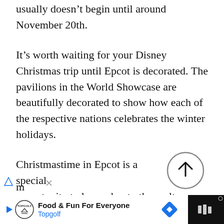usually doesn’t begin until around November 20th.
It’s worth waiting for your Disney Christmas trip until Epcot is decorated. The pavilions in the World Showcase are beautifully decorated to show how each of the respective nations celebrates the winter holidays.
Christmastime in Epcot is a special opportunity to learn about other cultures and broaden your understanding of what it
[Figure (other): Scroll-to-top circular button with an upward arrow icon]
Food & Fun For Everyone Topgolf [advertisement banner]